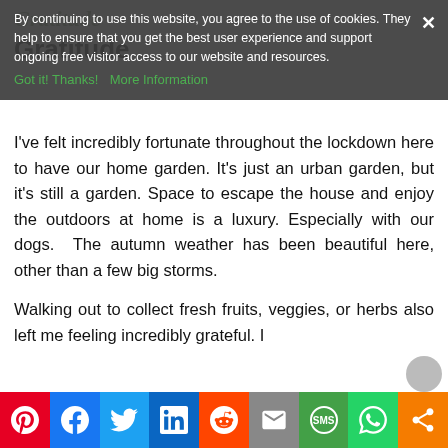By continuing to use this website, you agree to the use of cookies. They help to ensure that you get the best user experience and support ongoing free visitor access to our website and resources. Got it! Thanks!  More Information
Gratitude
I've felt incredibly fortunate throughout the lockdown here to have our home garden. It's just an urban garden, but it's still a garden. Space to escape the house and enjoy the outdoors at home is a luxury. Especially with our dogs.  The autumn weather has been beautiful here, other than a few big storms.
Walking out to collect fresh fruits, veggies, or herbs also left me feeling incredibly grateful. I
Pinterest Facebook Twitter LinkedIn Reddit Email SMS WhatsApp Share